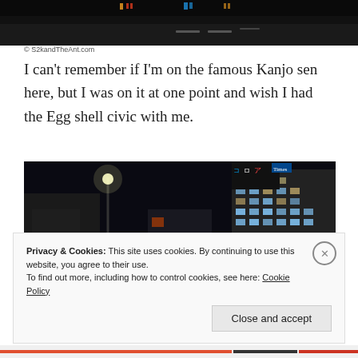[Figure (photo): Dark photo of a night highway scene with illuminated road signs overhead, partial view]
© S2kandTheAnt.com
I can't remember if I'm on the famous Kanjo sen here, but I was on it at one point and wish I had the Egg shell civic with me.
[Figure (photo): Night cityscape of urban Japan with illuminated buildings, a tall streetlight, and colorful signage against a dark sky]
Privacy & Cookies: This site uses cookies. By continuing to use this website, you agree to their use.
To find out more, including how to control cookies, see here: Cookie Policy
Close and accept